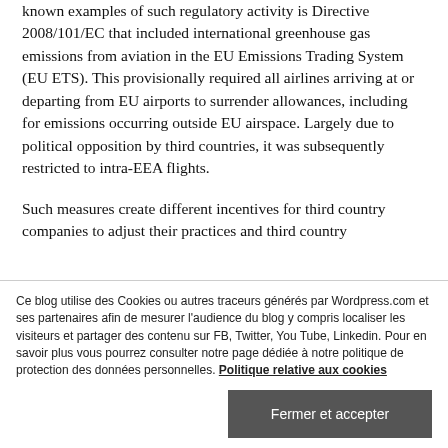known examples of such regulatory activity is Directive 2008/101/EC that included international greenhouse gas emissions from aviation in the EU Emissions Trading System (EU ETS). This provisionally required all airlines arriving at or departing from EU airports to surrender allowances, including for emissions occurring outside EU airspace. Largely due to political opposition by third countries, it was subsequently restricted to intra-EEA flights.
Such measures create different incentives for third country companies to adjust their practices and third country
Ce blog utilise des Cookies ou autres traceurs générés par Wordpress.com et ses partenaires afin de mesurer l'audience du blog y compris localiser les visiteurs et partager des contenu sur FB, Twitter, You Tube, Linkedin. Pour en savoir plus vous pourrez consulter notre page dédiée à notre politique de protection des données personnelles. Politique relative aux cookies
Fermer et accepter
products that would reflect the emissions caused by their